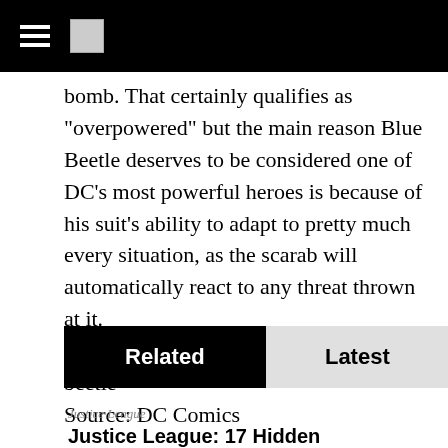bomb. That certainly qualifies as "overpowered" but the main reason Blue Beetle deserves to be considered one of DC’s most powerful heroes is because of his suit’s ability to adapt to pretty much every situation, as the scarab will automatically react to any threat thrown at it.
http://www.dccomics.com/characters/blue-beetle
Source: DC Comics
Related	Latest
Justice League
Justice League: 17 Hidden Details You May Have